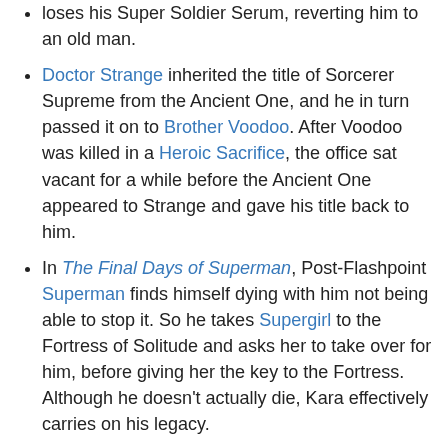loses his Super Soldier Serum, reverting him to an old man.
Doctor Strange inherited the title of Sorcerer Supreme from the Ancient One, and he in turn passed it on to Brother Voodoo. After Voodoo was killed in a Heroic Sacrifice, the office sat vacant for a while before the Ancient One appeared to Strange and gave his title back to him.
In The Final Days of Superman, Post-Flashpoint Superman finds himself dying with him not being able to stop it. So he takes Supergirl to the Fortress of Solitude and asks her to take over for him, before giving her the key to the Fortress. Although he doesn't actually die, Kara effectively carries on his legacy. Superman: Make me proud, Kara. Supergirl: You can count on that, cousin.
In Justice Society of America, Hourman's son took up the mantle after his father's death. When time-travel allows the father to be saved, the son offers to hand back the